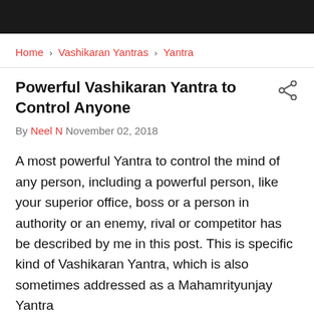Home › Vashikaran Yantras › Yantra
Powerful Vashikaran Yantra to Control Anyone
By Neel N November 02, 2018
A most powerful Yantra to control the mind of any person, including a powerful person, like your superior office, boss or a person in authority or an enemy, rival or competitor has be described by me in this post. This is specific kind of Vashikaran Yantra, which is also sometimes addressed as a Mahamrityunjay Yantra